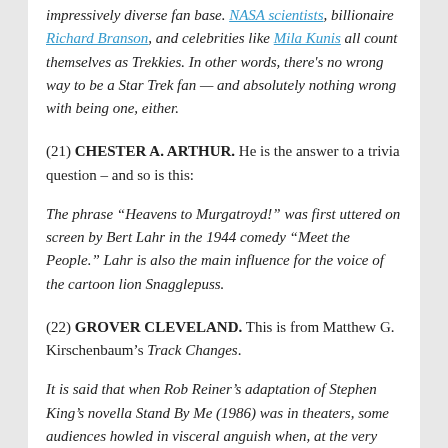impressively diverse fan base. NASA scientists, billionaire Richard Branson, and celebrities like Mila Kunis all count themselves as Trekkies. In other words, there's no wrong way to be a Star Trek fan — and absolutely nothing wrong with being one, either.
(21) CHESTER A. ARTHUR. He is the answer to a trivia question – and so is this:
The phrase “Heavens to Murgatroyd!” was first uttered on screen by Bert Lahr in the 1944 comedy “Meet the People.” Lahr is also the main influence for the voice of the cartoon lion Snagglepuss.
(22) GROVER CLEVELAND. This is from Matthew G. Kirschenbaum’s Track Changes.
It is said that when Rob Reiner’s adaptation of Stephen King’s novella Stand By Me (1986) was in theaters, some audiences howled in visceral anguish when, at the very end of the film, the adult Gordie, now a writer, switches off the computer he is using to type without any visible evidence of